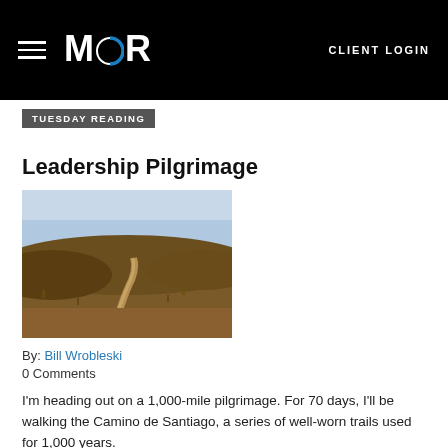MOR | CLIENT LOGIN
TUESDAY READING
Leadership Pilgrimage
[Figure (photo): Landscape photo of a trail through arid hillside terrain under a wide sky]
By: Bill Wrobleski
0 Comments
I'm heading out on a 1,000-mile pilgrimage. For 70 days, I'll be walking the Camino de Santiago, a series of well-worn trails used for 1,000 years.
Read post
8.9.22
TUESDAY READING